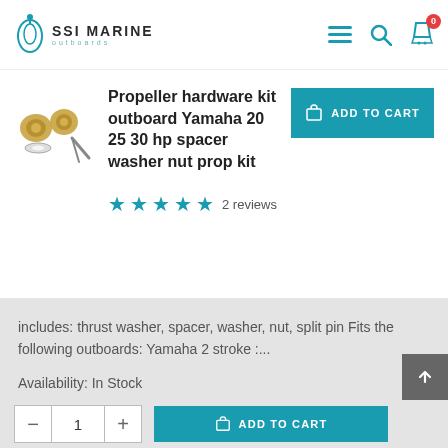SSI Marine outboards
Propeller hardware kit outboard Yamaha 20 25 30 hp spacer washer nut prop kit
2 reviews
includes: thrust washer, spacer, washer, nut, split pin Fits the following outboards: Yamaha  2 stroke :...
Availability:  In Stock